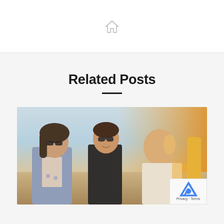🏠
Related Posts
[Figure (photo): Three young people outdoors in sunlight — a woman with sunglasses and a denim jacket on the left, a man in a black tank top and sunglasses in the center, and a bald man in a white shirt on the right, with warm golden backlight suggesting sunset.]